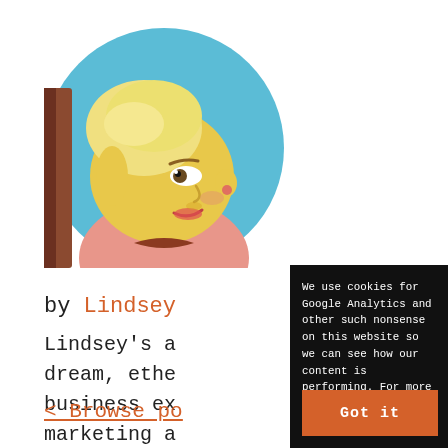[Figure (illustration): Circular avatar image of a Simpsons-style animated character — a woman with short blonde hair, yellow skin, wearing a pink outfit, on a light blue circular background.]
by Lindsey
Lindsey's a dream, ethe business ex marketing a definitely
< Browse po
We use cookies for Google Analytics and other such nonsense on this website so we can see how our content is performing. For more info check here: Privacy Policy
Got it